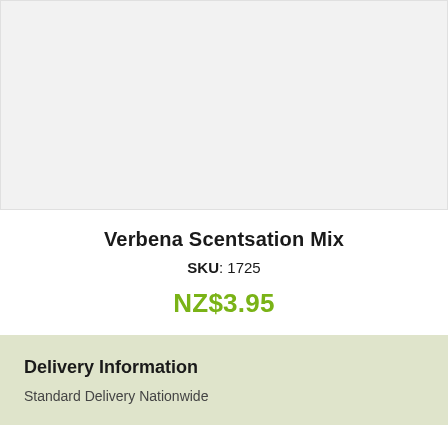[Figure (photo): Product image placeholder area with light gray background]
Verbena Scentsation Mix
SKU: 1725
NZ$3.95
Delivery Information
Standard Delivery Nationwide